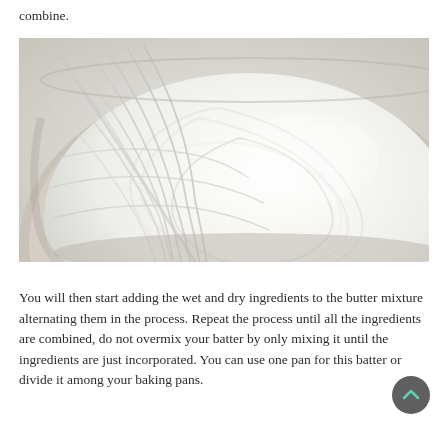combine.
[Figure (photo): Close-up photo of a whisk in a metal bowl with fluffy white whipped cream or batter, showing swirled texture.]
You will then start adding the wet and dry ingredients to the butter mixture alternating them in the process. Repeat the process until all the ingredients are combined, do not overmix your batter by only mixing it until the ingredients are just incorporated. You can use one pan for this batter or divide it among your baking pans.